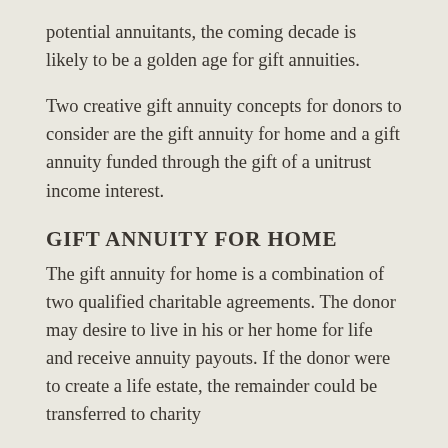potential annuitants, the coming decade is likely to be a golden age for gift annuities.
Two creative gift annuity concepts for donors to consider are the gift annuity for home and a gift annuity funded through the gift of a unitrust income interest.
GIFT ANNUITY FOR HOME
The gift annuity for home is a combination of two qualified charitable agreements. The donor may desire to live in his or her home for life and receive annuity payouts. If the donor were to create a life estate, the remainder could be transferred to charity and the donor could receive annuity payments.